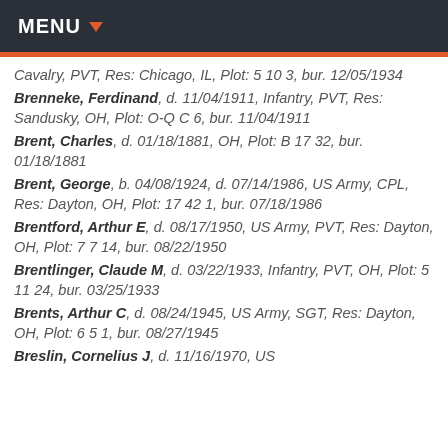MENU
Cavalry, PVT, Res: Chicago, IL, Plot: 5 10 3, bur. 12/05/1934
Brenneke, Ferdinand, d. 11/04/1911, Infantry, PVT, Res: Sandusky, OH, Plot: O-Q C 6, bur. 11/04/1911
Brent, Charles, d. 01/18/1881, OH, Plot: B 17 32, bur. 01/18/1881
Brent, George, b. 04/08/1924, d. 07/14/1986, US Army, CPL, Res: Dayton, OH, Plot: 17 42 1, bur. 07/18/1986
Brentford, Arthur E, d. 08/17/1950, US Army, PVT, Res: Dayton, OH, Plot: 7 7 14, bur. 08/22/1950
Brentlinger, Claude M, d. 03/22/1933, Infantry, PVT, OH, Plot: 5 11 24, bur. 03/25/1933
Brents, Arthur C, d. 08/24/1945, US Army, SGT, Res: Dayton, OH, Plot: 6 5 1, bur. 08/27/1945
Breslin, Cornelius J, d. 11/16/1970, US